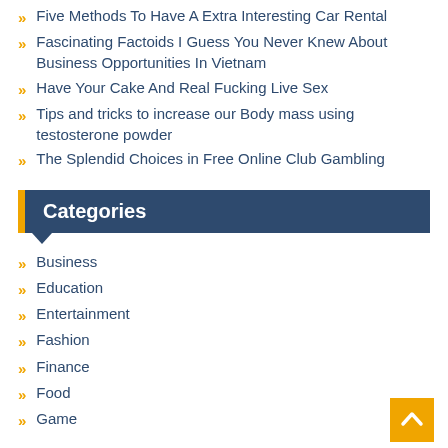Five Methods To Have A Extra Interesting Car Rental
Fascinating Factoids I Guess You Never Knew About Business Opportunities In Vietnam
Have Your Cake And Real Fucking Live Sex
Tips and tricks to increase our Body mass using testosterone powder
The Splendid Choices in Free Online Club Gambling
Categories
Business
Education
Entertainment
Fashion
Finance
Food
Game